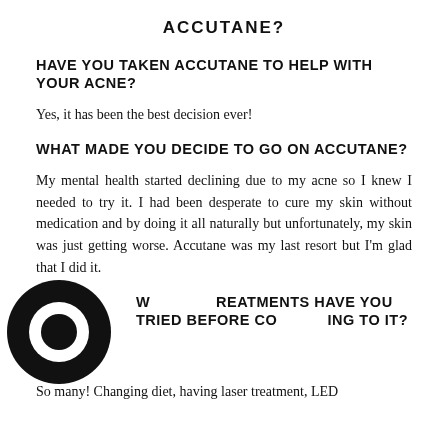ACCUTANE?
HAVE YOU TAKEN ACCUTANE TO HELP WITH YOUR ACNE?
Yes, it has been the best decision ever!
WHAT MADE YOU DECIDE TO GO ON ACCUTANE?
My mental health started declining due to my acne so I knew I needed to try it. I had been desperate to cure my skin without medication and by doing it all naturally but unfortunately, my skin was just getting worse. Accutane was my last resort but I'm glad that I did it.
WHAT TREATMENTS HAVE YOU TRIED BEFORE COMING TO IT?
So many! Changing diet, having laser treatment, LED